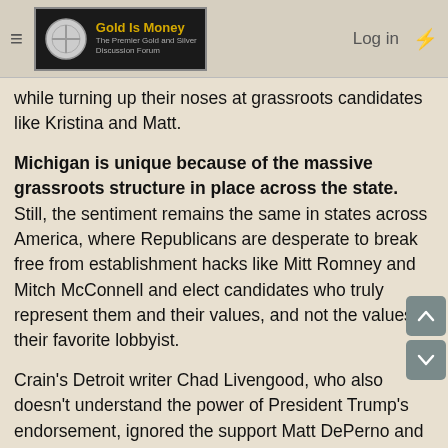Gold Is Money — The Premier Gold and Silver Discussion Forum | Log in
while turning up their noses at grassroots candidates like Kristina and Matt.
Michigan is unique because of the massive grassroots structure in place across the state. Still, the sentiment remains the same in states across America, where Republicans are desperate to break free from establishment hacks like Mitt Romney and Mitch McConnell and elect candidates who truly represent them and their values, and not the values of their favorite lobbyist.
Crain's Detroit writer Chad Livengood, who also doesn't understand the power of President Trump's endorsement, ignored the support Matt DePerno and Kristina Karamo have received from across the state and claimed the MI GOP is in for an electoral disaster, while the arrogant never-Trump John Truscott tweeted that Michigan's lawless AG Dana Nessel had been saved by DePerno's victory last night.
The former MIGOP Chair, and RINO Laura Cox, attacked